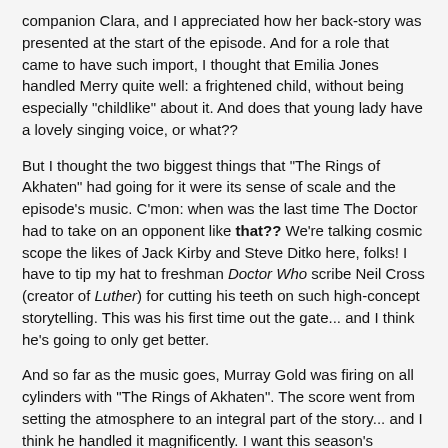companion Clara, and I appreciated how her back-story was presented at the start of the episode.  And for a role that came to have such import, I thought that Emilia Jones handled Merry quite well: a frightened child, without being especially "childlike" about it.  And does that young lady have a lovely singing voice, or what??
But I thought the two biggest things that "The Rings of Akhaten" had going for it were its sense of scale and the episode's music.  C'mon: when was the last time The Doctor had to take on an opponent like that??  We're talking cosmic scope the likes of Jack Kirby and Steve Ditko here, folks!  I have to tip my hat to freshman Doctor Who scribe Neil Cross (creator of Luther) for cutting his teeth on such high-concept storytelling.  This was his first time out the gate... and I think he's going to only get better.
And so far as the music goes, Murray Gold was firing on all cylinders with "The Rings of Akhaten".  The score went from setting the atmosphere to an integral part of the story... and I think he handled it magnificently.  I want this season's soundtrack album right now, just to have the pieces he composed for this episode (along with Emilia Jones' choral accompaniment!).
It also must be said that "The Rings of Akhaten" is an absolute feast for the eyes.  One well-respected friend with cinematography